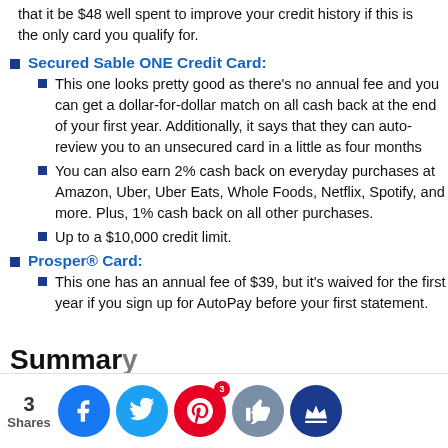that it be $48 well spent to improve your credit history if this is the only card you qualify for.
Secured Sable ONE Credit Card:
This one looks pretty good as there's no annual fee and you can get a dollar-for-dollar match on all cash back at the end of your first year. Additionally, it says that they can auto-review you to an unsecured card in a little as four months
You can also earn 2% cash back on everyday purchases at Amazon, Uber, Uber Eats, Whole Foods, Netflix, Spotify, and more. Plus, 1% cash back on all other purchases.
Up to a $10,000 credit limit.
Prosper® Card:
This one has an annual fee of $39, but it's waived for the first year if you sign up for AutoPay before your first statement.
Summary